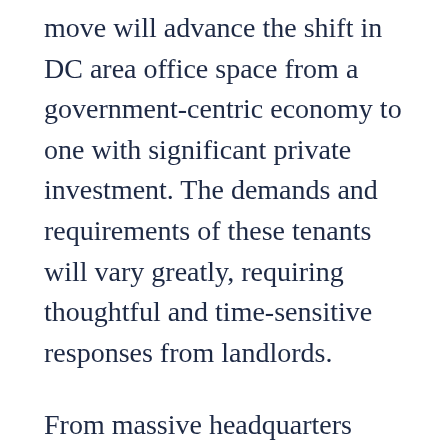move will advance the shift in DC area office space from a government-centric economy to one with significant private investment. The demands and requirements of these tenants will vary greatly, requiring thoughtful and time-sensitive responses from landlords.
From massive headquarters relocation (including giants such as Marriott and Fannie Mae) to small, boutique retail, Venable attorneys have seen and addressed every lease issue from both the landlord and tenant perspectives.